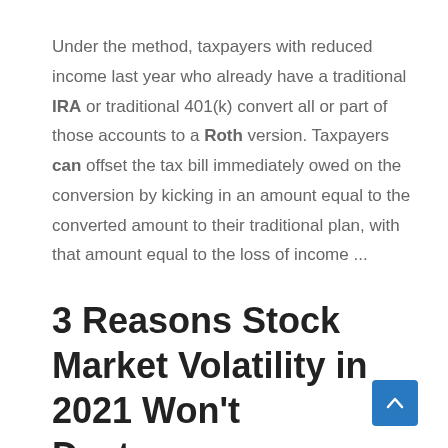Under the method, taxpayers with reduced income last year who already have a traditional IRA or traditional 401(k) convert all or part of those accounts to a Roth version. Taxpayers can offset the tax bill immediately owed on the conversion by kicking in an amount equal to the converted amount to their traditional plan, with that amount equal to the loss of income ...
3 Reasons Stock Market Volatility in 2021 Won't Destroy ...